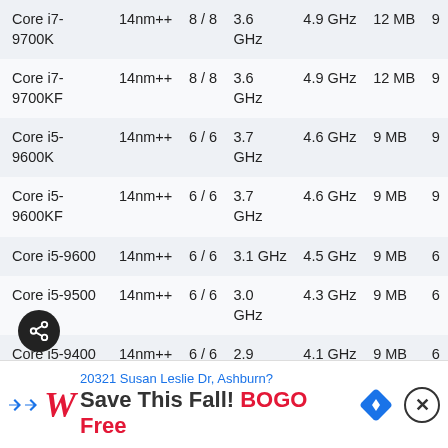| Model | Process | Cores/Threads | Base Clock | Boost Clock | Cache | TDP |
| --- | --- | --- | --- | --- | --- | --- |
| Core i7-9700K | 14nm++ | 8 / 8 | 3.6 GHz | 4.9 GHz | 12 MB | 9 |
| Core i7-9700KF | 14nm++ | 8 / 8 | 3.6 GHz | 4.9 GHz | 12 MB | 9 |
| Core i5-9600K | 14nm++ | 6 / 6 | 3.7 GHz | 4.6 GHz | 9 MB | 9 |
| Core i5-9600KF | 14nm++ | 6 / 6 | 3.7 GHz | 4.6 GHz | 9 MB | 9 |
| Core i5-9600 | 14nm++ | 6 / 6 | 3.1 GHz | 4.5 GHz | 9 MB | 6 |
| Core i5-9500 | 14nm++ | 6 / 6 | 3.0 GHz | 4.3 GHz | 9 MB | 6 |
| Core i5-9400 | 14nm++ | 6 / 6 | 2.9 GHz | 4.1 GHz | 9 MB | 6 |
| Core i5-9400T | 14nm++ | 6 / 6 | 1.8 GHz | 3.4 GHz | 9 MB | 3 |